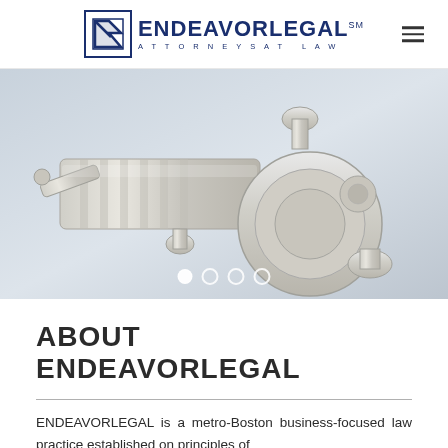[Figure (logo): EndeavourLegal logo with blue icon and text 'ENDEAVORLEGAL ATTORNEYS AT LAW']
[Figure (photo): Hero image of a mechanical/industrial component (appears to be a metal pump or valve assembly) on a light blue-grey background with four slider navigation dots at the bottom]
ABOUT ENDEAVORLEGAL
ENDEAVORLEGAL is a metro-Boston business-focused law practice established on principles of